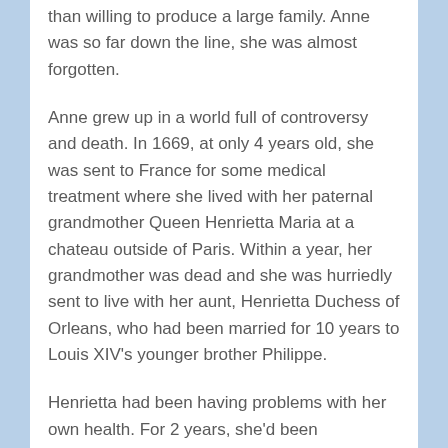than willing to produce a large family. Anne was so far down the line, she was almost forgotten.
Anne grew up in a world full of controversy and death. In 1669, at only 4 years old, she was sent to France for some medical treatment where she lived with her paternal grandmother Queen Henrietta Maria at a chateau outside of Paris. Within a year, her grandmother was dead and she was hurriedly sent to live with her aunt, Henrietta Duchess of Orleans, who had been married for 10 years to Louis XIV's younger brother Philippe.
Henrietta had been having problems with her own health. For 2 years, she'd been complaining of an intermittent, intense pain in her side and shortly before Anne arrived, the pain had progressed and she was having digestive problems as well. One